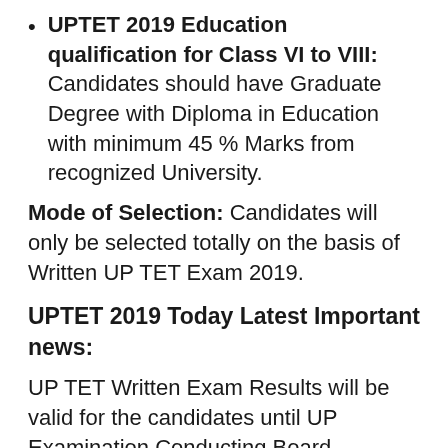UPTET 2019 Education qualification for Class VI to VIII: Candidates should have Graduate Degree with Diploma in Education with minimum 45 % Marks from recognized University.
Mode of Selection: Candidates will only be selected totally on the basis of Written UP TET Exam 2019.
UPTET 2019 Today Latest Important news:
UP TET Written Exam Results will be valid for the candidates until UP Examination Conducting Board conducts next exam.